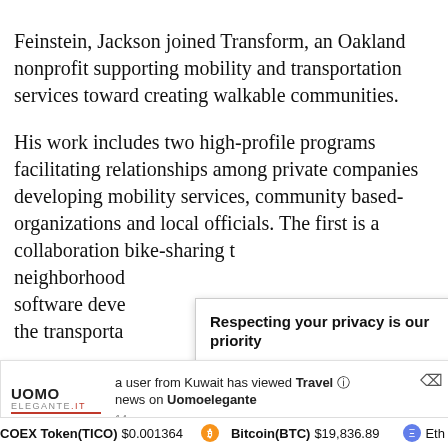Feinstein, Jackson joined Transform, an Oakland nonprofit supporting mobility and transportation services toward creating walkable communities.
His work includes two high-profile programs facilitating relationships among private companies developing mobility services, community based-organizations and local officials. The first is a collaboration bike-sharing t… neighborhood software deve… the transporta…
[Figure (screenshot): Privacy consent popup: 'Respecting your privacy is our priority. We use cookies on uomoelegante.it to give you an optimal experience. Happy surfing.' with green and blue buttons.]
[Figure (screenshot): Notification bar: Uomo Elegante logo on left, text 'a user from Kuwait has viewed Travel news on Uomoelegante', '14 sec ago', with close button.]
COEX Token(TICO) $0.001364   Bitcoin(BTC) $19,836.89   Eth…